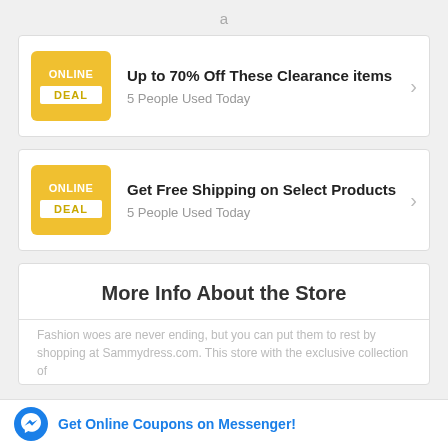a
Up to 70% Off These Clearance items — 5 People Used Today
Get Free Shipping on Select Products — 5 People Used Today
More Info About the Store
Fashion woes are never ending, but you can put them to rest by shopping at Sammydress.com. This store with the exclusive collection of...
Get Online Coupons on Messenger!